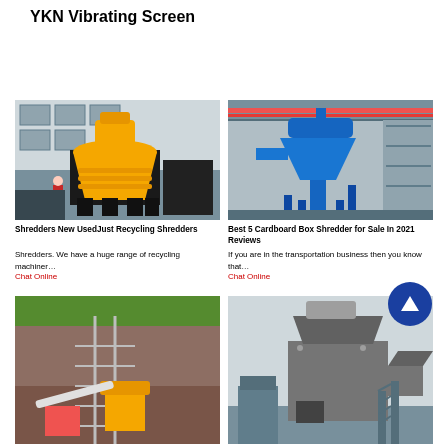YKN Vibrating Screen
[Figure (photo): Yellow industrial cone crusher machine in outdoor industrial setting]
Shredders New UsedJust Recycling Shredders
Shredders. We have a huge range of recycling machiner…
Chat Online
[Figure (photo): Blue industrial dust collector/separator machine inside factory warehouse]
Best 5 Cardboard Box Shredder for Sale In 2021 Reviews
If you are in the transportation business then you know that…
Chat Online
[Figure (photo): Quarry/mining site with yellow crushing equipment and scaffolding on hillside]
[Figure (photo): Large grey industrial shredder or crusher machine on platform with stairs]